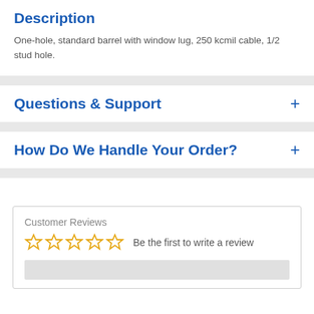Description
One-hole, standard barrel with window lug, 250 kcmil cable, 1/2 stud hole.
Questions & Support
How Do We Handle Your Order?
Customer Reviews
Be the first to write a review